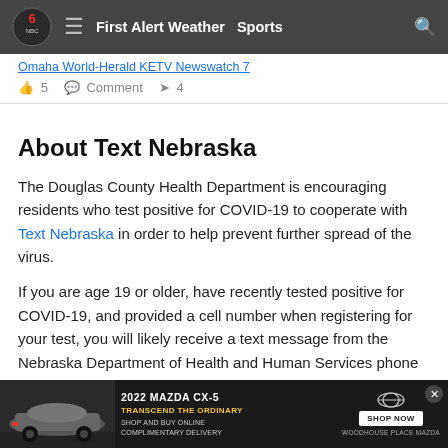First Alert Weather  Sports
Omaha World-Herald KETV Newswatch 7
5  Comment  4
About Text Nebraska
The Douglas County Health Department is encouraging residents who test positive for COVID-19 to cooperate with Text Nebraska in order to help prevent further spread of the virus.
If you are age 19 or older, have recently tested positive for COVID-19, and provided a cell number when registering for your test, you will likely receive a text message from the Nebraska Department of Health and Human Services phone number 1-844-774-7604 that prompts you to take a survey. will assure s a
[Figure (screenshot): 2022 Mazda CX-5 advertisement banner: TRANSCEND THE ORDINARY, SHOP AND BUY ONLINE COMPLIMENTARY DELIVERY, SHOP NOW, WOODHOUSE PLACE MAZDA]